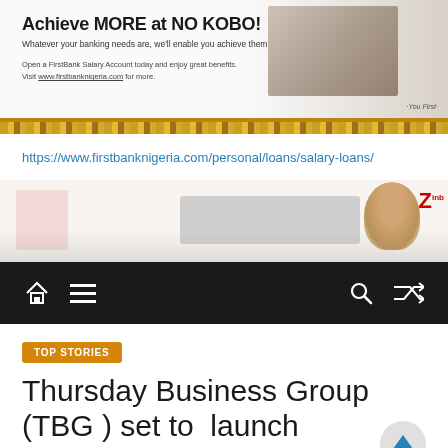[Figure (photo): FirstBank advertisement banner: 'Achieve MORE at NO KOBO!' with tagline 'Whatever your banking needs are, we'll enable you achieve them'. Mentions FirstBank Salary Account and website www.firstbanknigeria.com. Includes photo collage and decorative strip.]
https://www.firstbanknigeria.com/personal/loans/salary-loans/
[Figure (photo): Zenith Bank advertisement banner with a woman in a red jacket and Z logo.]
[Figure (screenshot): Dark navigation bar with home icon, hamburger menu icon, search icon, and shuffle icon.]
TOP STORIES
Thursday Business Group (TBG ) set to  launch Foundation at upcoming